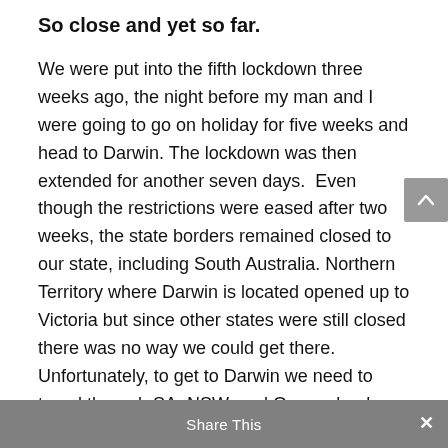So close and yet so far.
We were put into the fifth lockdown three weeks ago, the night before my man and I were going to go on holiday for five weeks and head to Darwin. The lockdown was then extended for another seven days.  Even though the restrictions were eased after two weeks, the state borders remained closed to our state, including South Australia. Northern Territory where Darwin is located opened up to Victoria but since other states were still closed there was no way we could get there. Unfortunately, to get to Darwin we need to travel through SA, NSW, and Queensland which is the long way around, but the latt Share This with the Delta
Share This ✕